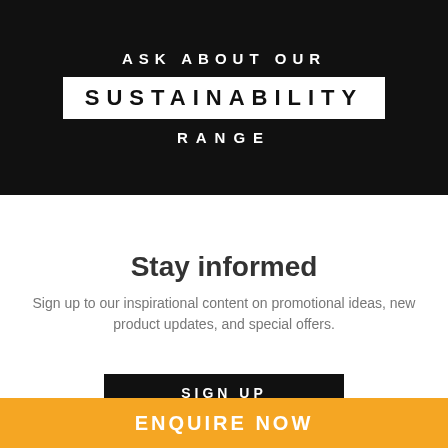[Figure (infographic): Black banner with white text reading ASK ABOUT OUR SUSTAINABILITY RANGE, where SUSTAINABILITY is in a white box with black text]
Stay informed
Sign up to our inspirational content on promotional ideas, new product updates, and special offers.
SIGN UP
ENQUIRE NOW